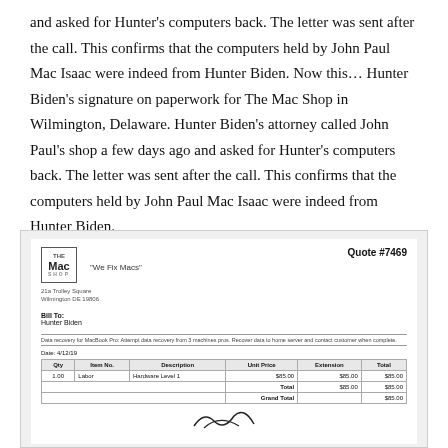and asked for Hunter's computers back. The letter was sent after the call. This confirms that the computers held by John Paul Mac Isaac were indeed from Hunter Biden. Now this… Hunter Biden's signature on paperwork for The Mac Shop in Wilmington, Delaware. Hunter Biden's attorney called John Paul's shop a few days ago and asked for Hunter's computers back. The letter was sent after the call. This confirms that the computers held by John Paul Mac Isaac were indeed from Hunter Biden.
[Figure (photo): Photograph of a Mac Shop repair quote/invoice document. Header shows The Mac Shop logo and tagline 'We Fix Macs', address '21a Trolley Square, Wilmington DE 19806', and Quote #7469. Bill To: Hunter Biden. Description of data recovery service for MacBook Pro. Date: 12/19. Table with columns Qty, Item No., Description, Unit Price, Extension, Total. Row: 1.00, Labor, Hardware Level 1, $85.00, $85.00, $85.00. Total: $85.00, $85.00. Grand Total: $85.00. Signature visible at bottom.]